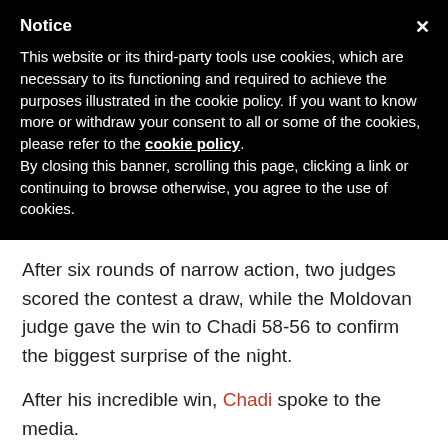Notice
This website or its third-party tools use cookies, which are necessary to its functioning and required to achieve the purposes illustrated in the cookie policy. If you want to know more or withdraw your consent to all or some of the cookies, please refer to the cookie policy. By closing this banner, scrolling this page, clicking a link or continuing to browse otherwise, you agree to the use of cookies.
After six rounds of narrow action, two judges scored the contest a draw, while the Moldovan judge gave the win to Chadi 58-56 to confirm the biggest surprise of the night.
After his incredible win, Chadi spoke to the media.
"First of all, I am really proud to be a part of the to...